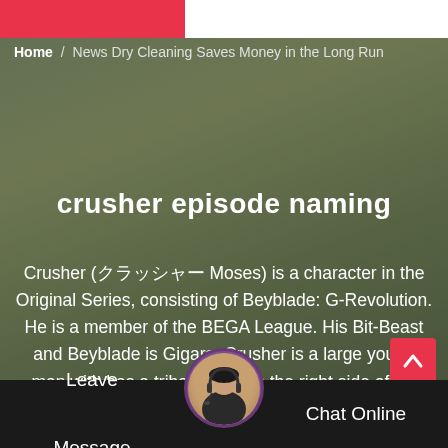Home / News Dry Cleaning Saves Money in the Long Run
crusher episode naming
Crusher (クラッシャー Moses) is a character in the Original Series, consisting of Beyblade: G-Revolution. He is a member of the BEGA League. His Bit-Beast and Beyblade is Gigars. Crusher is a large young man with has a tribal tattoo on the right side of his face. He wears a orange and black hoodie with some yellow straps with the sleeves of the hoodie rolled up. Under that, he wear
Leave Message   Chat Online